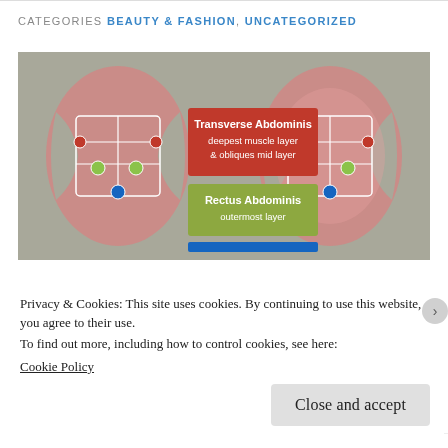CATEGORIES BEAUTY & FASHION, UNCATEGORIZED
[Figure (illustration): Anatomical diagram showing two side-by-side illustrations of the abdominal muscle layers. Left illustration shows muscles without overlay; right shows same with a shaded overlay. Center legend boxes: red box labelled 'Transverse Abdominis deepest muscle layer & obliques mid layer' with red dots marking those muscles, and green box labelled 'Rectus Abdominis outermost layer' with green dots, and blue dot at bottom. Background is grey-beige.]
Privacy & Cookies: This site uses cookies. By continuing to use this website, you agree to their use.
To find out more, including how to control cookies, see here:
Cookie Policy
Close and accept